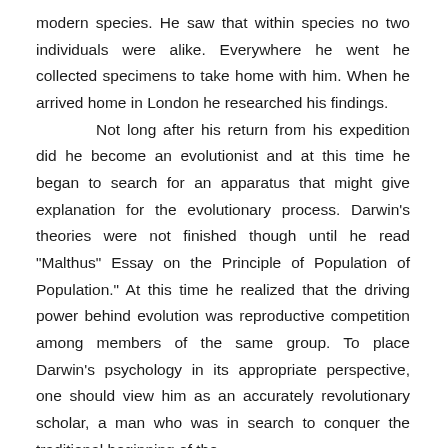modern species. He saw that within species no two individuals were alike. Everywhere he went he collected specimens to take home with him. When he arrived home in London he researched his findings.

Not long after his return from his expedition did he become an evolutionist and at this time he began to search for an apparatus that might give explanation for the evolutionary process. Darwin's theories were not finished though until he read "Malthus" Essay on the Principle of Population of Population." At this time he realized that the driving power behind evolution was reproductive competition among members of the same group. To place Darwin's psychology in its appropriate perspective, one should view him as an accurately revolutionary scholar, a man who was in search to conquer the traditional beginning of the